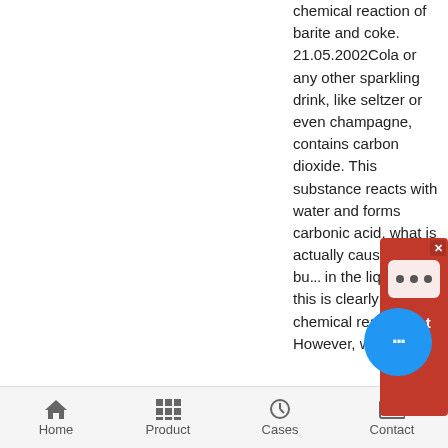chemical reaction of barite and coke. 21.05.2002Cola or any other sparkling drink, like seltzer or even champagne, contains carbon dioxide. This substance reacts with water and forms carbonic acid, what is actually causing the bu... in the liquid. So... this is clearly a chemical reaction. However, when
[Figure (other): Chat Now widget - red rectangle with chat icon and close X button]
[Figure (other): Blue circular chat bubble button with ellipsis icon]
Home   Product   Cases   Contact